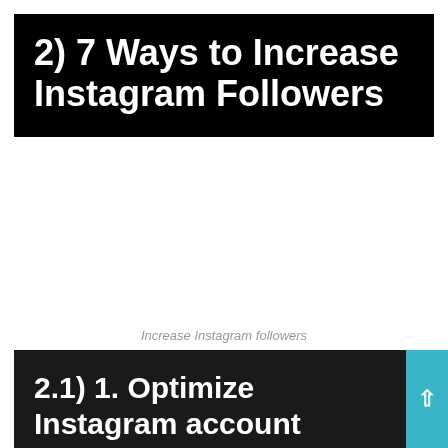2) 7 Ways to Increase Instagram Followers
Increase Instagram followers
2.1) 1. Optimize Instagram account